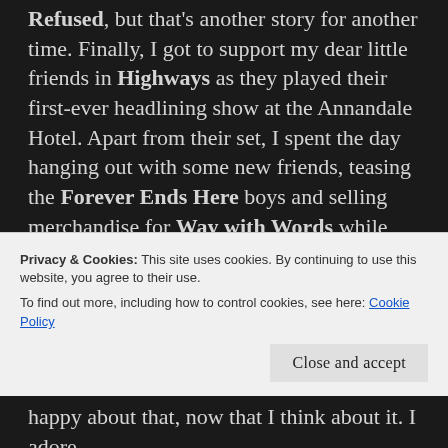Refused, but that's another story for another time. Finally, I got to support my dear little friends in Highways as they played their first-ever headlining show at the Annandale Hotel. Apart from their set, I spent the day hanging out with some new friends, teasing the Forever Ends Here boys and selling merchandise for Way with Words while hanging at Highways' merch table. I love those little matinee shows; they're always good fun and the vibe is always sweet. Support them!
My last two shows of the month saw me once again celebrating some local talent, as well as
Privacy & Cookies: This site uses cookies. By continuing to use this website, you agree to their use.
To find out more, including how to control cookies, see here: Cookie Policy
happy about that, now that I think about it. I adore